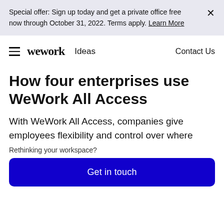Special offer: Sign up today and get a private office free now through October 31, 2022. Terms apply. Learn More
wework Ideas   Contact Us
How four enterprises use WeWork All Access
With WeWork All Access, companies give employees flexibility and control over where
Rethinking your workspace?
Get in touch